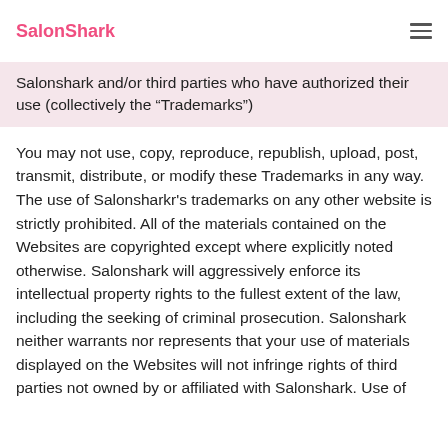SalonShark
Salonshark and/or third parties who have authorized their use (collectively the “Trademarks”)
You may not use, copy, reproduce, republish, upload, post, transmit, distribute, or modify these Trademarks in any way. The use of Salonsharkr's trademarks on any other website is strictly prohibited. All of the materials contained on the Websites are copyrighted except where explicitly noted otherwise. Salonshark will aggressively enforce its intellectual property rights to the fullest extent of the law, including the seeking of criminal prosecution. Salonshark neither warrants nor represents that your use of materials displayed on the Websites will not infringe rights of third parties not owned by or affiliated with Salonshark. Use of